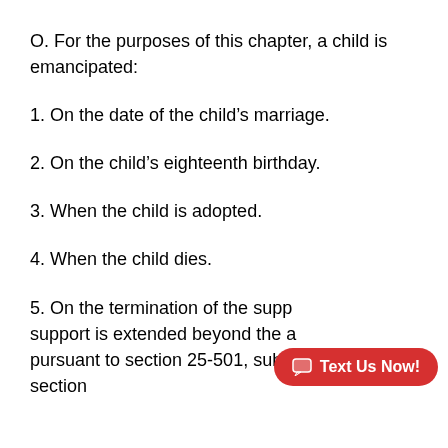O. For the purposes of this chapter, a child is emancipated:
1. On the date of the child’s marriage.
2. On the child’s eighteenth birthday.
3. When the child is adopted.
4. When the child dies.
5. On the termination of the support obligation if support is extended beyond the age of majority pursuant to section 25-501, subsection A or section